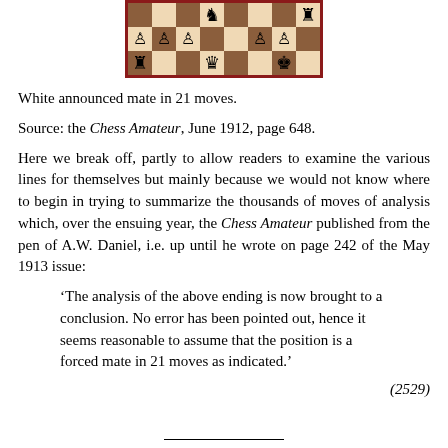[Figure (other): Partial chess board showing 3 rows of 8 squares with chess pieces: knight and rook on top row, pawns on middle row, rook, queen/king and king on bottom row]
White announced mate in 21 moves.
Source: the Chess Amateur, June 1912, page 648.
Here we break off, partly to allow readers to examine the various lines for themselves but mainly because we would not know where to begin in trying to summarize the thousands of moves of analysis which, over the ensuing year, the Chess Amateur published from the pen of A.W. Daniel, i.e. up until he wrote on page 242 of the May 1913 issue:
‘The analysis of the above ending is now brought to a conclusion. No error has been pointed out, hence it seems reasonable to assume that the position is a forced mate in 21 moves as indicated.’
(2529)